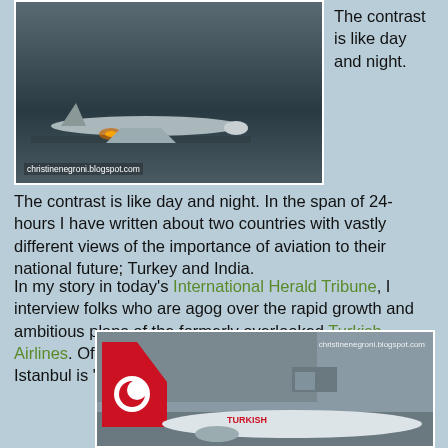[Figure (photo): Airplane on tarmac, christinenegroni.blogspot.com watermark, dark tones]
The contrast is like day and night. In the span of 24-hours I have written about two countries with vastly different views of the importance of aviation to their national future; Turkey and India.
In my story in today's International Herald Tribune, I interview folks who are agog over the rapid growth and ambitious plans of the formerly overlooked Turkish Airlines. Of Turkish, Ralph Anker of anna.aero writes Istanbul is "the most diverse hub in Europe."
[Figure (photo): Turkish Airlines aircraft on tarmac with red tail, christinenegroni.blogspot.com watermark]